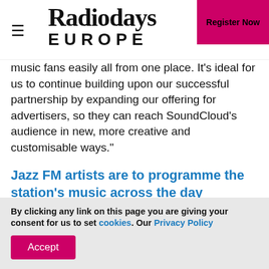Radiodays EUROPE | Register Now
music fans easily all from one place. It's ideal for us to continue building upon our successful partnership by expanding our offering for advertisers, so they can reach SoundCloud's audience in new, more creative and customisable ways."
Jazz FM artists are to programme the station's music across the day
Tue, 2022-08-16 10:03
By clicking any link on this page you are giving your consent for us to set cookies. Our Privacy Policy
Accept